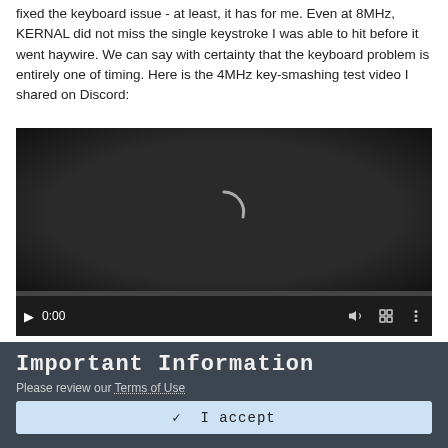fixed the keyboard issue - at least, it has for me. Even at 8MHz, KERNAL did not miss the single keystroke I was able to hit before it went haywire. We can say with certainty that the keyboard problem is entirely one of timing. Here is the 4MHz key-smashing test video I shared on Discord:
[Figure (screenshot): Embedded video player showing a dark screen with a loading spinner arc and playback controls showing 0:00 time, volume, fullscreen, and menu icons, with a progress bar at the bottom.]
Important Information
Please review our Terms of Use
✓  I accept